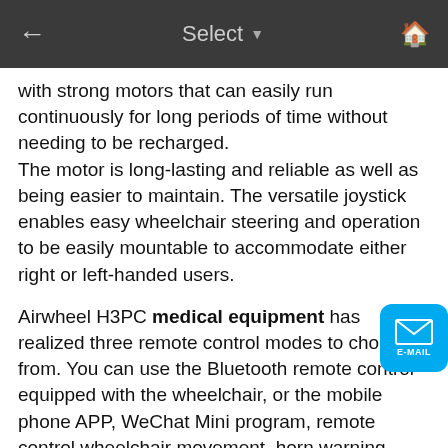← Select ▾ 🏠
with strong motors that can easily run continuously for long periods of time without needing to be recharged.
The motor is long-lasting and reliable as well as being easier to maintain. The versatile joystick enables easy wheelchair steering and operation to be easily mountable to accommodate either right or left-handed users.
Airwheel H3PC medical equipment has realized three remote control modes to choose from. You can use the Bluetooth remote control equipped with the wheelchair, or the mobile phone APP, WeChat Mini program, remote control wheelchair movement, horn warning, one-key folding, etc, which is convenient enough to meet the needs of daily situations. In addition, through the APP or small program, the fault self-check function can also be used to perform simple detection when traveling to avoid the danger caused by the failure.